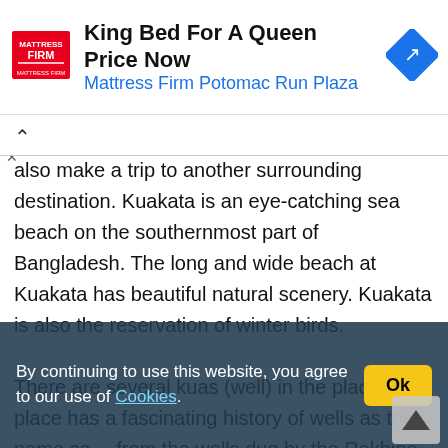[Figure (other): Mattress Firm advertisement banner: logo on left, bold text 'King Bed For A Queen Price Now', blue subtitle 'Mattress Firm Potomac Run Plaza', blue diamond navigation icon on right]
also make a trip to another surrounding destination. Kuakata is an eye-catching sea beach on the southernmost part of Bangladesh. The long and wide beach at Kuakata has beautiful natural scenery. Kuakata is also the reservation of winter birds.
There are several kuas (well) in the place. This place has a fascinating history of wells as the name came from the wells dug by the Rakhine settlers. Some of these wells which were dug several years back are still there. The local authorities were quite successful in preserving these historical sites. These wells
By continuing to use this website, you agree to our use of Cookies.